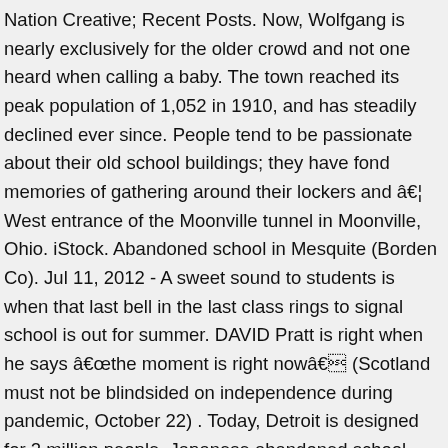Nation Creative; Recent Posts. Now, Wolfgang is nearly exclusively for the older crowd and not one heard when calling a baby. The town reached its peak population of 1,052 in 1910, and has steadily declined ever since. People tend to be passionate about their old school buildings; they have fond memories of gathering around their lockers and â€¦ West entrance of the Moonville tunnel in Moonville, Ohio. iStock. Abandoned school in Mesquite (Borden Co). Jul 11, 2012 - A sweet sound to students is when that last bell in the last class rings to signal school is out for summer. DAVID Pratt is right when he says â€œthe moment is right nowâ€ (Scotland must not be blindsided on independence during pandemic, October 22) . Today, Detroit is designed for 2 million people. Japanese abandoned school with graffiti name written on the black board. Explore. Jul 14, 2013, 1:40am . "Abandoned" is the eighth episode in the tenth season of Smallville, and the two hundred-fourth episode overall. Choisissez parmi des contenus premium Abandoned School de la plus haute qualité. First, they photographed every room at the old school building, which was